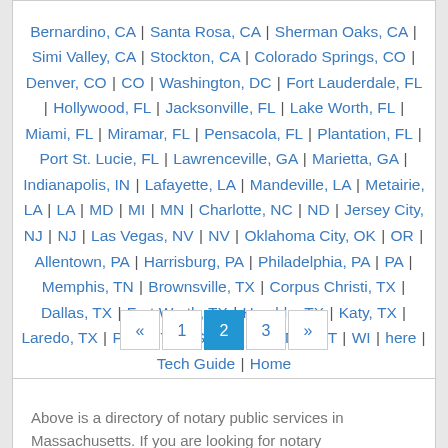Bernardino, CA | Santa Rosa, CA | Sherman Oaks, CA | Simi Valley, CA | Stockton, CA | Colorado Springs, CO | Denver, CO | CO | Washington, DC | Fort Lauderdale, FL | Hollywood, FL | Jacksonville, FL | Lake Worth, FL | Miami, FL | Miramar, FL | Pensacola, FL | Plantation, FL | Port St. Lucie, FL | Lawrenceville, GA | Marietta, GA | Indianapolis, IN | Lafayette, LA | Mandeville, LA | Metairie, LA | LA | MD | MI | MN | Charlotte, NC | ND | Jersey City, NJ | NJ | Las Vegas, NV | NV | Oklahoma City, OK | OR | Allentown, PA | Harrisburg, PA | Philadelphia, PA | PA | Memphis, TN | Brownsville, TX | Corpus Christi, TX | Dallas, TX | Fort Worth, TX | Humble, TX | Katy, TX | Laredo, TX | Plano, TX | Spring, TX | TX | UT | WI | here | Tech Guide | Home
« 1 2 3 »
Above is a directory of notary public services in Massachusetts. If you are looking for notary